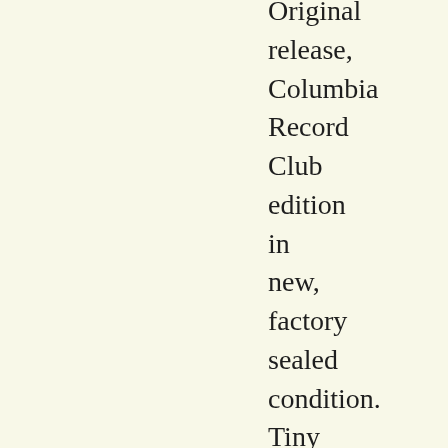Original release, Columbia Record Club edition in new, factory sealed condition. Tiny ding on one corner of cover, otherwise perfecto. With 12-page photo/bio booklet. Th...